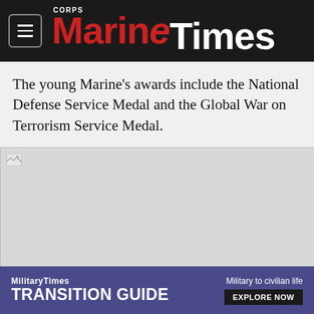Marine Corps Times
The young Marine's awards include the National Defense Service Medal and the Global War on Terrorism Service Medal.
[Figure (photo): Image placeholder - broken image icon visible at top left, gray background]
[Figure (infographic): MilitaryTimes Transition Guide advertisement banner. Text reads: MilitaryTimes TRANSITION GUIDE | Military to civilian life | EXPLORE NOW]